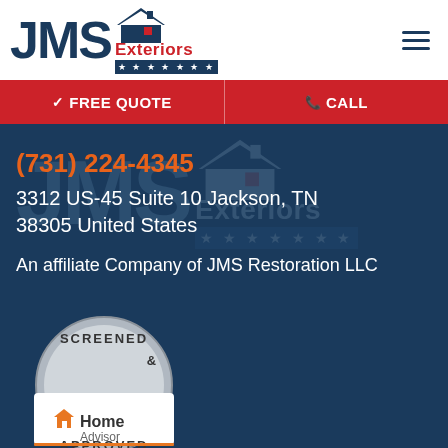[Figure (logo): JMS Exteriors logo with house/roof icon, red 'Exteriors' text, and dark navy stars bar]
[Figure (logo): Hamburger menu icon (three horizontal lines)]
FREE QUOTE
CALL
[Figure (logo): Ghost/watermark JMS Exteriors logo overlaid on dark blue background]
(731) 224-4345
3312 US-45 Suite 10 Jackson, TN 38305 United States
An affiliate Company of JMS Restoration LLC
[Figure (logo): HomeAdvisor Screened & Approved badge/seal]